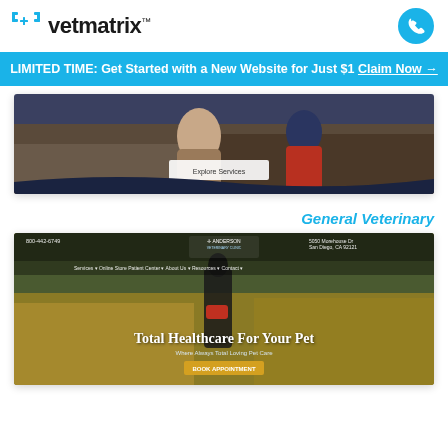[Figure (logo): VetMatrix logo with bracket icon and wordmark]
LIMITED TIME: Get Started with a New Website for Just $1 Claim Now →
[Figure (screenshot): Website screenshot showing outdoor pet/animal scene with 'Explore Services' button and dark wave footer]
General Veterinary
[Figure (screenshot): Anderson Veterinary website screenshot showing 'Total Healthcare For Your Pet' hero with person walking dog, navigation bar with ANDERSON logo, address 5050 Morehouse Dr San Diego CA 92121, and BOOK APPOINTMENT button]